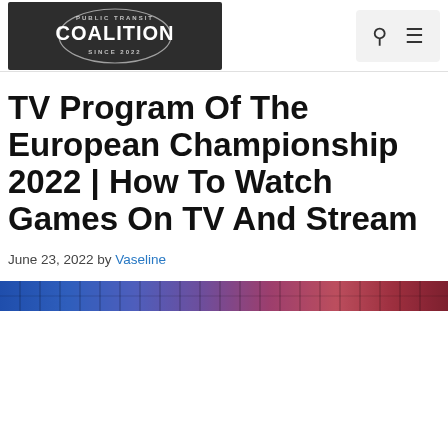[Figure (logo): Public Transit Coalition logo - dark background with circular badge and text COALITION]
TV Program Of The European Championship 2022 | How To Watch Games On TV And Stream
June 23, 2022 by Vaseline
[Figure (photo): A horizontal strip image showing illuminated brick wall with blue and red/pink lighting]